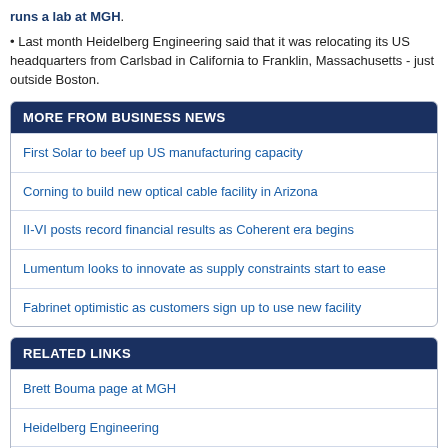runs a lab at MGH.
Last month Heidelberg Engineering said that it was relocating its US headquarters from Carlsbad in California to Franklin, Massachusetts - just outside Boston.
MORE FROM BUSINESS NEWS
First Solar to beef up US manufacturing capacity
Corning to build new optical cable facility in Arizona
II-VI posts record financial results as Coherent era begins
Lumentum looks to innovate as supply constraints start to ease
Fabrinet optimistic as customers sign up to use new facility
RELATED LINKS
Brett Bouma page at MGH
Heidelberg Engineering
Topcon launches the first commercial combined anterior & posterior swept source OCT